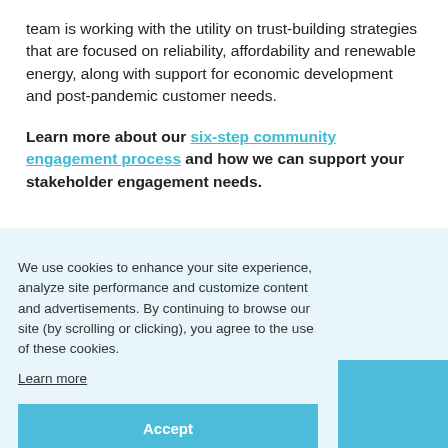team is working with the utility on trust-building strategies that are focused on reliability, affordability and renewable energy, along with support for economic development and post-pandemic customer needs.
Learn more about our six-step community engagement process and how we can support your stakeholder engagement needs.
We use cookies to enhance your site experience, analyze site performance and customize content and advertisements. By continuing to browse our site (by scrolling or clicking), you agree to the use of these cookies.
Learn more
Accept